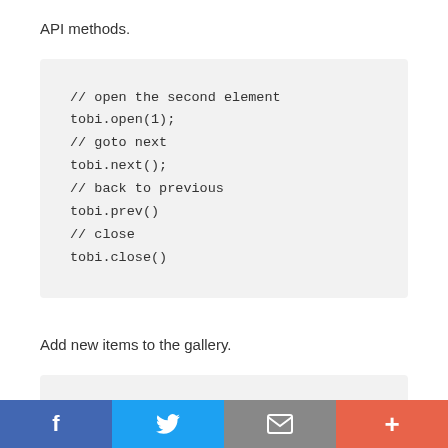API methods.
// open the second element
tobi.open(1);
// goto next
tobi.next();
// back to previous
tobi.prev()
// close
tobi.close()
Add new items to the gallery.
var newItem =